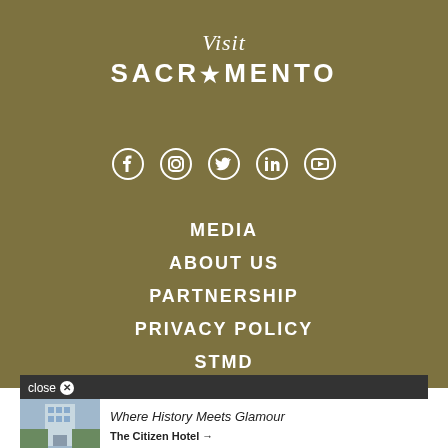[Figure (logo): Visit Sacramento logo with italic script 'Visit' above bold uppercase 'SACR★MENTO']
[Figure (infographic): Social media icons: Facebook, Instagram, Twitter, LinkedIn, YouTube — all white on olive background]
MEDIA
ABOUT US
PARTNERSHIP
PRIVACY POLICY
STMD
[Figure (screenshot): Ad overlay: 'close X' bar, hotel building photo, text 'Where History Meets Glamour / The Citizen Hotel →']
Would you like to accept cookies?
Accept